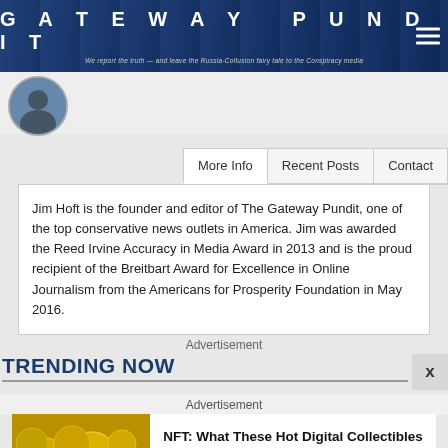GATEWAY PUNDIT - We report the truth — and leave the Russia-Collusion fairy tale to the Conspiracy media
[Figure (photo): Circular avatar photo of a person, appears to be the author Jim Hoft]
More Info | Recent Posts | Contact
Jim Hoft is the founder and editor of The Gateway Pundit, one of the top conservative news outlets in America. Jim was awarded the Reed Irvine Accuracy in Media Award in 2013 and is the proud recipient of the Breitbart Award for Excellence in Online Journalism from the Americans for Prosperity Foundation in May 2016.
Advertisement
TRENDING NOW
Advertisement
[Figure (photo): Gold NFT coins pile image]
NFT: What These Hot Digital Collectibles Are Bringing In Millions
Brainberries